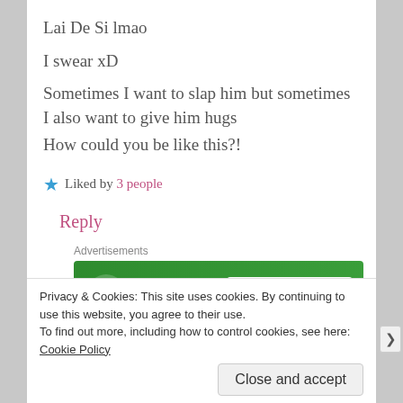Lai De Si lmao
I swear xD
Sometimes I want to slap him but sometimes I also want to give him hugs
How could you be like this?!
★ Liked by 3 people
Reply
Advertisements
[Figure (screenshot): Jetpack advertisement banner with green background showing 'Jetpack' logo and 'Back up your site' button]
REPORT THIS AD
Privacy & Cookies: This site uses cookies. By continuing to use this website, you agree to their use.
To find out more, including how to control cookies, see here: Cookie Policy
Close and accept